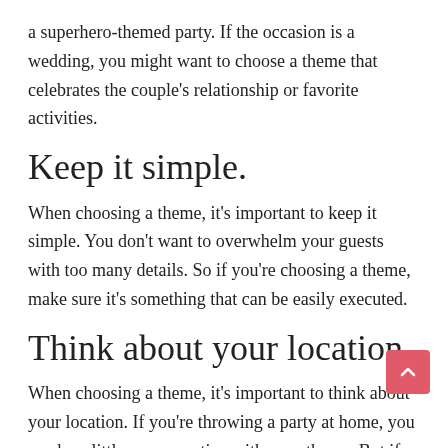a superhero-themed party. If the occasion is a wedding, you might want to choose a theme that celebrates the couple's relationship or favorite activities.
Keep it simple.
When choosing a theme, it's important to keep it simple. You don't want to overwhelm your guests with too many details. So if you're choosing a theme, make sure it's something that can be easily executed.
Think about your location.
When choosing a theme, it's important to think about your location. If you're throwing a party at home, you can be a little more creative with your theme. But if you're throwing a party at a venue, you'll need to stick to more generic themes